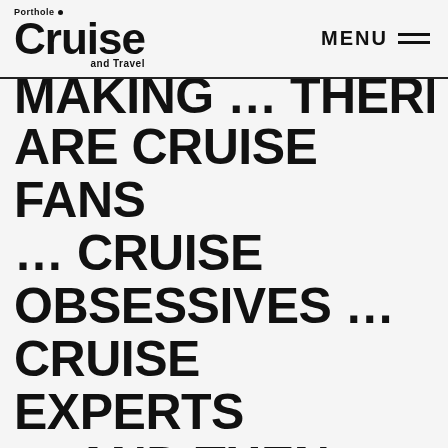Porthole Cruise and Travel — MENU
MAKING … THERE ARE CRUISE FANS … CRUISE OBSESSIVES … CRUISE EXPERTS … AND THEN THERE'S PETER KNEGO.
MONDAY MANTRA